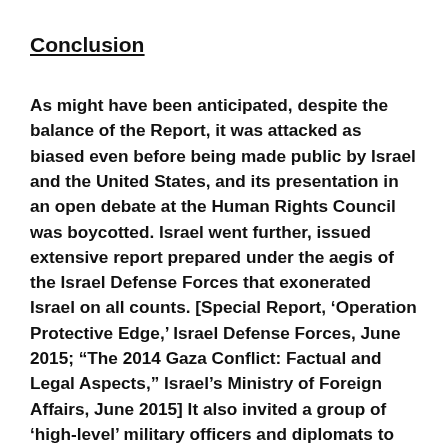Conclusion
As might have been anticipated, despite the balance of the Report, it was attacked as biased even before being made public by Israel and the United States, and its presentation in an open debate at the Human Rights Council was boycotted. Israel went further, issued extensive report prepared under the aegis of the Israel Defense Forces that exonerated Israel on all counts. [Special Report, ‘Operation Protective Edge,’ Israel Defense Forces, June 2015; “The 2014 Gaza Conflict: Factual and Legal Aspects,” Israel’s Ministry of Foreign Affairs, June 2015] It also invited a group of ‘high-level’ military officers and diplomats to review